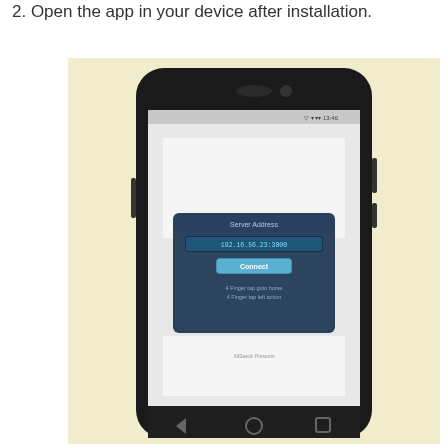2. Open the app in your device after installation.
[Figure (screenshot): A smartphone (Nexus 5 style) displaying an app with a server address dialog. The dialog shows 'Server Address' label, an input field with '192.168.56.23:3000', a 'Connect' button, and two lines of text about finger tap gestures. The phone is shown on a pale yellow background.]